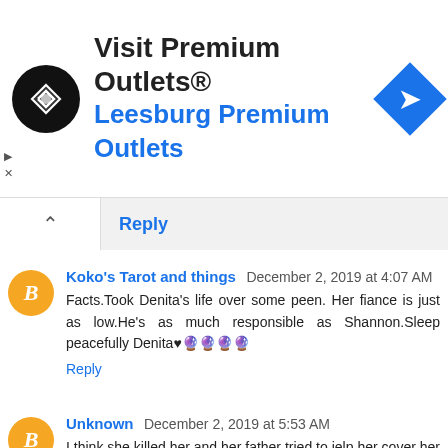[Figure (screenshot): Advertisement banner: Visit Premium Outlets® / Leesburg Premium Outlets with logo and navigation icon]
Reply
Koko's Tarot and things December 2, 2019 at 4:07 AM
Facts.Took Denita's life over some peen. Her fiance is just as low.He's as much responsible as Shannon.Sleep peacefully Denita♥🔮🔮🔮🔮
Reply
Unknown December 2, 2019 at 5:53 AM
I think she killed her and her father tried to jelp her cover her ass. You spent 4 months in jail b4 you confessed, staged phone calls from a pay phone, staged a rape no evidence how did you know where the knife was if you